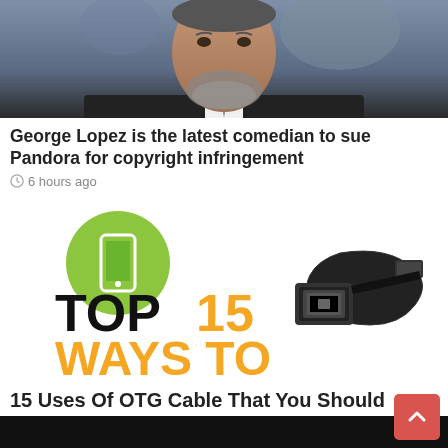[Figure (photo): Cropped photo of a bearded man in a suit, partially visible, likely a comedian or celebrity]
George Lopez is the latest comedian to sue Pandora for copyright infringement
6 hours ago
[Figure (infographic): Infographic reading 'TOP 15 WAYS TO USE USB OTG CABLES' with a green phone icon and a USB OTG cable image]
15 Uses Of OTG Cable That You Should Know
6 hours ago
[Figure (photo): Bottom of page shows the top of another article image, mostly black]